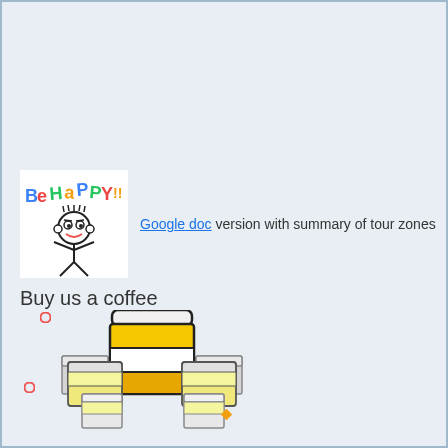[Figure (illustration): Be Happy cartoon illustration with colorful text and a smiling stick figure character]
Google doc version with summary of tour zones
Buy us a coffee
[Figure (illustration): Stack of coffee cups illustration with yellow/gold colored cups in different sizes]
You will help us to improve our coffee...